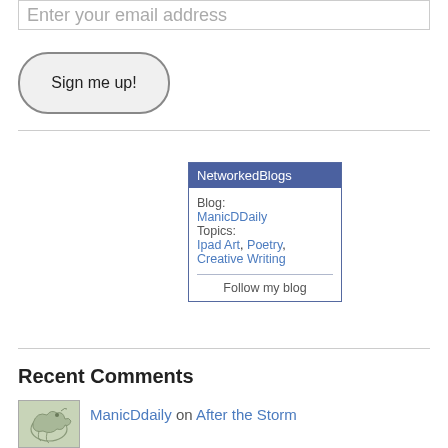Enter your email address
Sign me up!
[Figure (screenshot): NetworkedBlogs widget showing Blog: ManicDDaily, Topics: Ipad Art, Poetry, Creative Writing, and a Follow my blog link]
Recent Comments
ManicDdaily on After the Storm